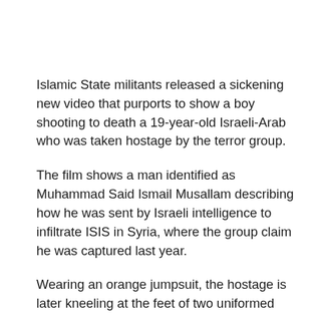Islamic State militants released a sickening new video that purports to show a boy shooting to death a 19-year-old Israeli-Arab who was taken hostage by the terror group.
The film shows a man identified as Muhammad Said Ismail Musallam describing how he was sent by Israeli intelligence to infiltrate ISIS in Syria, where the group claim he was captured last year.
Wearing an orange jumpsuit, the hostage is later kneeling at the feet of two uniformed militants, one of whom appears to be no older than 10, before being shot in the forehead at point-blank range.